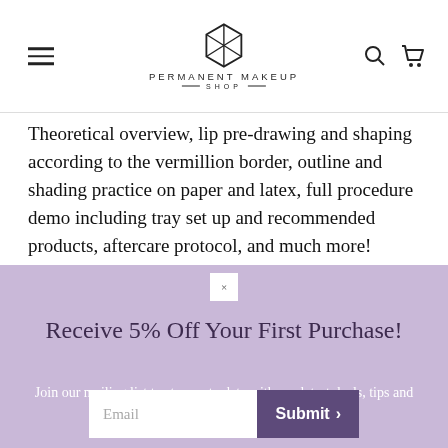PERMANENT MAKEUP SHOP
Theoretical overview, lip pre-drawing and shaping according to the vermillion border, outline and shading practice on paper and latex, full procedure demo including tray set up and recommended products, aftercare protocol, and much more!
You will learn how to select proper pigments, depth and pressure, and everything else you will need to perform the
Receive 5% Off Your First Purchase!
Join our mailing list to stay up to date with our latest deals, tips and tricks!